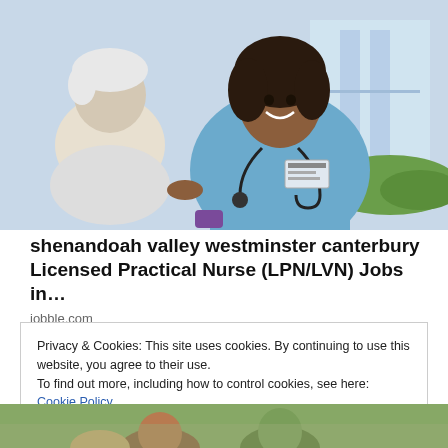[Figure (photo): A smiling nurse in blue scrubs with a stethoscope attending to an elderly patient]
shenandoah valley westminster canterbury Licensed Practical Nurse (LPN/LVN) Jobs in…
jobble.com
Privacy & Cookies: This site uses cookies. By continuing to use this website, you agree to their use.
To find out more, including how to control cookies, see here: Cookie Policy
Close and accept
[Figure (photo): Partial photo at bottom showing people outdoors]